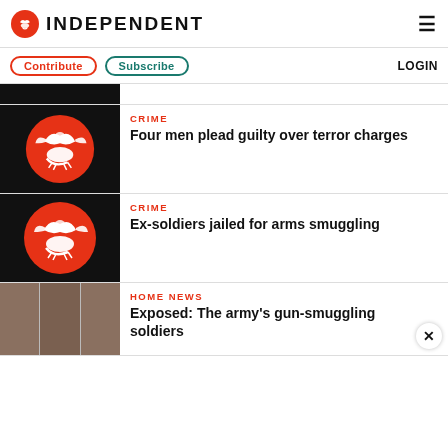INDEPENDENT
Contribute | Subscribe | LOGIN
[Figure (illustration): Placeholder Independent logo thumbnail (partially visible, cropped)]
CRIME
Four men plead guilty over terror charges
CRIME
Ex-soldiers jailed for arms smuggling
HOME NEWS
Exposed: The army's gun-smuggling soldiers